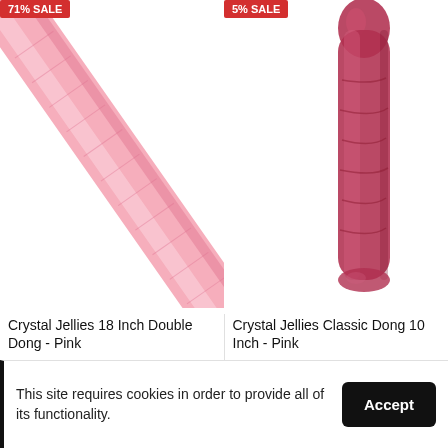[Figure (photo): Left product: 71% SALE badge in red top-left corner. A long pink translucent jelly double dong rod angled diagonally across the left product cell.]
[Figure (photo): Right product: 5% SALE badge in red top-left corner. A dark pink/red translucent jelly classic dong 10 inch standing vertically in the right product cell.]
Crystal Jellies 18 Inch Double Dong - Pink
$50.95 $57.43
Crystal Jellies Classic Dong 10 Inch - Pink
$30.95 $32.30
This site requires cookies in order to provide all of its functionality.